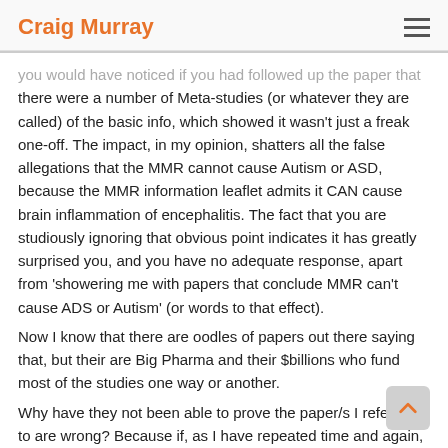Craig Murray
you would have noticed if you had followed up the paper that there were a number of Meta-studies (or whatever they are called) of the basic info, which showed it wasn't just a freak one-off. The impact, in my opinion, shatters all the false allegations that the MMR cannot cause Autism or ASD, because the MMR information leaflet admits it CAN cause brain inflammation of encephalitis. The fact that you are studiously ignoring that obvious point indicates it has greatly surprised you, and you have no adequate response, apart from 'showering me with papers that conclude MMR can't cause ADS or Autism' (or words to that effect).
Now I know that there are oodles of papers out there saying that, but their are Big Pharma and their $billions who fund most of the studies one way or another.
Why have they not been able to prove the paper/s I referred to are wrong? Because if, as I have repeated time and again, they are right, it blows their assurances of MMR not causing ADS / Autism out of the water.